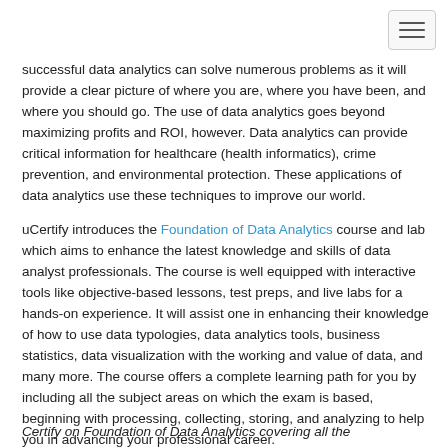successful data analytics can solve numerous problems as it will provide a clear picture of where you are, where you have been, and where you should go. The use of data analytics goes beyond maximizing profits and ROI, however. Data analytics can provide critical information for healthcare (health informatics), crime prevention, and environmental protection. These applications of data analytics use these techniques to improve our world.
uCertify introduces the Foundation of Data Analytics course and lab which aims to enhance the latest knowledge and skills of data analyst professionals. The course is well equipped with interactive tools like objective-based lessons, test preps, and live labs for a hands-on experience. It will assist one in enhancing their knowledge of how to use data typologies, data analytics tools, business statistics, data visualization with the working and value of data, and many more. The course offers a complete learning path for you by including all the subject areas on which the exam is based, beginning with processing, collecting, storing, and analyzing to help you in advancing your professional career.
Certify on Foundation of Data Analytics covering all the